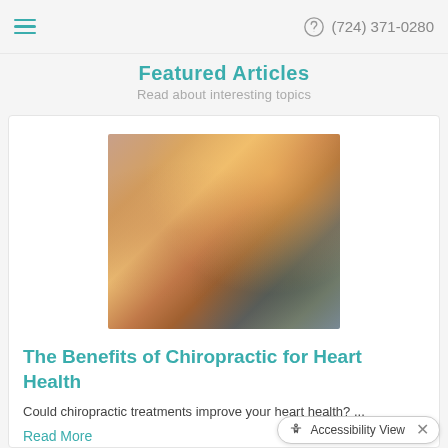≡  (724) 371-0280
Featured Articles
Read about interesting topics
[Figure (photo): Person sitting cross-legged in athletic wear, appearing to stretch or prepare for exercise, with a water bottle visible, warm sunlit background]
The Benefits of Chiropractic for Heart Health
Could chiropractic treatments improve your heart health? ...
Read More
♿ Accessibility View  ✕